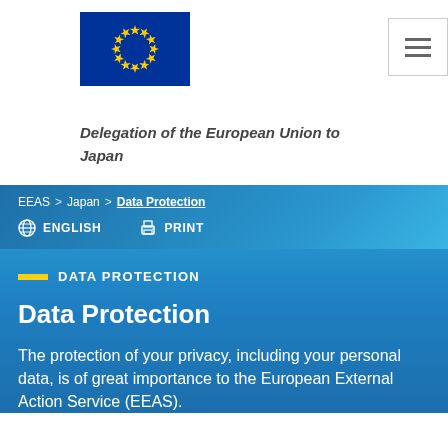[Figure (logo): European Union flag — circle of 12 yellow stars on blue background]
Delegation of the European Union to Japan
EEAS > Japan > Data Protection
ENGLISH   PRINT
DATA PROTECTION
Data Protection
The protection of your privacy, including your personal data, is of great importance to the European External Action Service (EEAS).